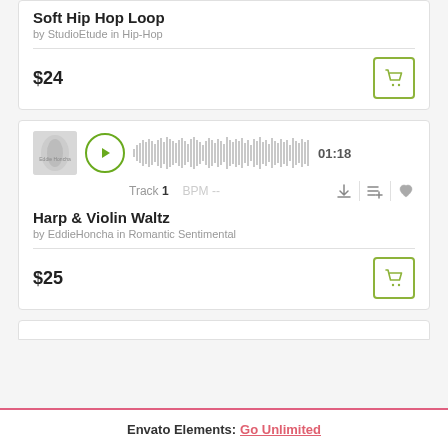Soft Hip Hop Loop
by StudioEtude in Hip-Hop
$24
[Figure (screenshot): Audio player with waveform for Harp & Violin Waltz, showing thumbnail image, green play button, waveform visualization, and 01:18 duration. Track 1, BPM --, with download, add to playlist, and heart icons.]
Harp & Violin Waltz
by EddieHoncha in Romantic Sentimental
$25
Envato Elements: Go Unlimited